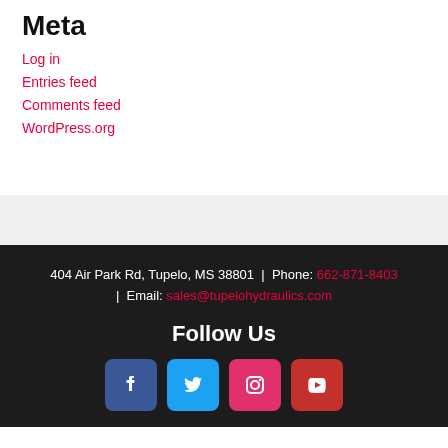Meta
Log in
Entries feed
Comments feed
WordPress.org
404 Air Park Rd, Tupelo, MS 38801 | Phone: 662-871-8403 | Email: sales@tupelohydraulics.com
Follow Us
[Figure (infographic): Social media icons: Facebook (blue), Twitter (blue), Instagram (pink/red), YouTube (red)]